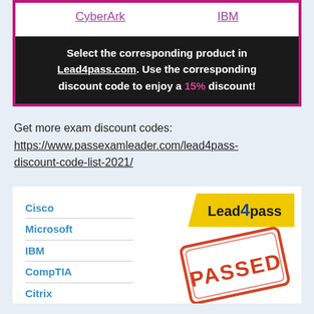CyberArk    IBM
Select the corresponding product in Lead4pass.com. Use the corresponding discount code to enjoy a 15% discount!
Get more exam discount codes: https://www.passexamleader.com/lead4pass-discount-code-list-2021/
[Figure (logo): Lead4pass logo with yellow chevron banner and PASSED stamp. Vendor list: Cisco, Microsoft, IBM, CompTIA, Citrix.]